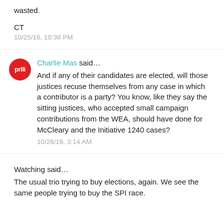wasted.
CT
10/25/16, 10:38 PM
Charlie Mas said…
And if any of their candidates are elected, will those justices recuse themselves from any case in which a contributor is a party? You know, like they say the sitting justices, who accepted small campaign contributions from the WEA, should have done for McCleary and the Initiative 1240 cases?
10/26/16, 3:14 AM
Watching said…
The usual trio trying to buy elections, again. We see the same people trying to buy the SPI race.